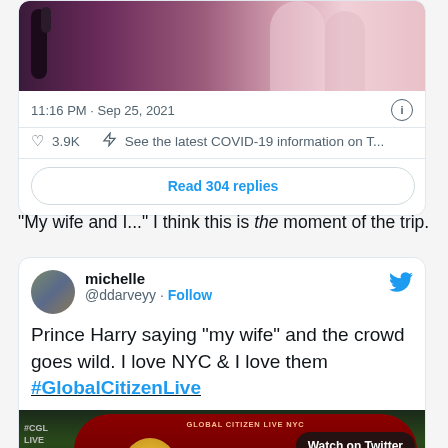[Figure (screenshot): Top portion of a tweet with an image of people at an event, showing timestamp 11:16 PM · Sep 25, 2021, 3.9K likes, COVID-19 info link, and a Read 304 replies button]
"My wife and I..." I think this is the moment of the trip.
[Figure (screenshot): Tweet by michelle @ddarveyy with Follow button and Twitter bird icon. Text: Prince Harry saying "my wife" and the crowd goes wild. I love NYC & I love them #GlobalCitizenLive. Below is a media thumbnail showing Global Citizen Live NYC event with Watch on Twitter button.]